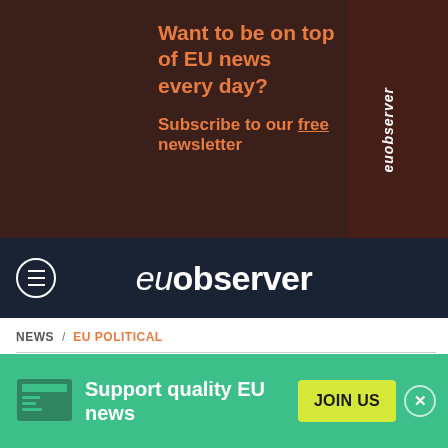[Figure (screenshot): EUobserver advertisement banner with dark brown background. Text reads: 'Want to be on top of EU news every day? Subscribe to our free newsletter' in orange, with 'euobserver' logo vertically on the right.]
euobserver
NEWS / EU POLITICAL
Ukraine law on NGOs like 'Putin's Russia'
[Figure (photo): Partial photo showing silhouettes of people, possibly at a press conference or meeting, with blue and yellow colors visible on the right edge.]
Support quality EU news
JOIN US